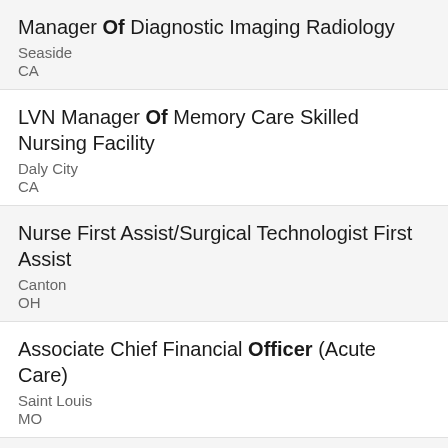Manager Of Diagnostic Imaging Radiology
Seaside
CA
LVN Manager Of Memory Care Skilled Nursing Facility
Daly City
CA
Nurse First Assist/Surgical Technologist First Assist
Canton
OH
Associate Chief Financial Officer (Acute Care)
Saint Louis
MO
Team Lead Electrophysiology Lab